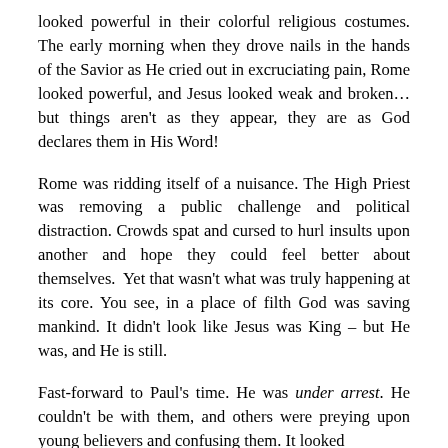looked powerful in their colorful religious costumes. The early morning when they drove nails in the hands of the Savior as He cried out in excruciating pain, Rome looked powerful, and Jesus looked weak and broken… but things aren't as they appear, they are as God declares them in His Word!
Rome was ridding itself of a nuisance. The High Priest was removing a public challenge and political distraction. Crowds spat and cursed to hurl insults upon another and hope they could feel better about themselves. Yet that wasn't what was truly happening at its core. You see, in a place of filth God was saving mankind. It didn't look like Jesus was King – but He was, and He is still.
Fast-forward to Paul's time. He was under arrest. He couldn't be with them, and others were preying upon young believers and confusing them. It looked